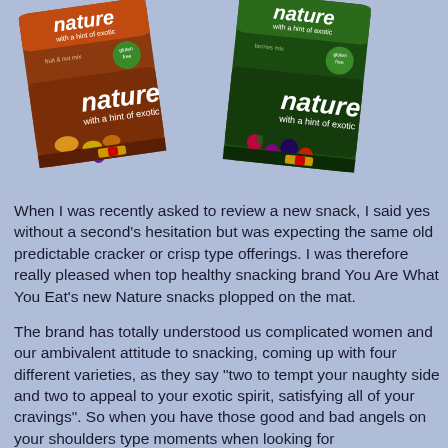[Figure (photo): Two snack packages from the 'You Are What You Eat' Nature brand. Left package is brown/chocolate colored with 'nature with a hint of exotic' text and fruit & nut mix contents. Right package is dark green with same 'nature with a hint of exotic' branding and berry mix contents. Both packages are shown at slight angles on a light blue background.]
When I was recently asked to review a new snack, I said yes without a second's hesitation but was expecting the same old predictable cracker or crisp type offerings. I was therefore really pleased when top healthy snacking brand You Are What You Eat's new Nature snacks plopped on the mat.
The brand has totally understood us complicated women and our ambivalent attitude to snacking, coming up with four different varieties, as they say "two to tempt your naughty side and two to appeal to your exotic spirit, satisfying all of your cravings". So when you have those good and bad angels on your shoulders type moments when looking for